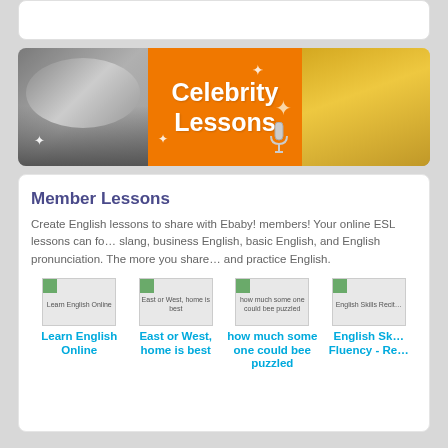[Figure (photo): Celebrity Lessons banner with two people wearing sunglasses on the left and orange background with 'Celebrity Lessons' text and microphone icon, plus a group photo on the right]
Member Lessons
Create English lessons to share with Ebaby! members! Your online ESL lessons can focus on slang, business English, basic English, and English pronunciation. The more you share and practice English.
[Figure (photo): Learn English Online lesson thumbnail]
Learn English Online
[Figure (photo): East or West, home is best lesson thumbnail]
East or West, home is best
[Figure (photo): how much some one could bee puzzled lesson thumbnail]
how much some one could bee puzzled
[Figure (photo): English Skills - Fluency lesson thumbnail (partially visible)]
English Skills Fluency - Re...
Learn English   Find Friends   En...